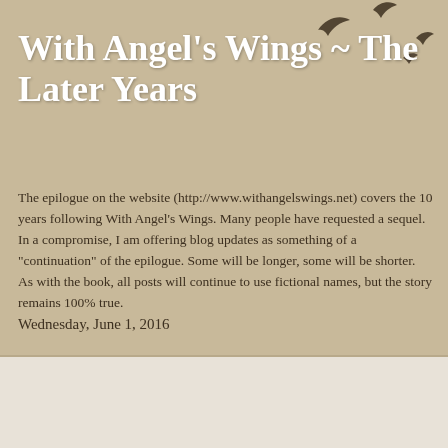With Angel's Wings ~ The Later Years
The epilogue on the website (http://www.withangelswings.net) covers the 10 years following With Angel's Wings. Many people have requested a sequel. In a compromise, I am offering blog updates as something of a "continuation" of the epilogue. Some will be longer, some will be shorter. As with the book, all posts will continue to use fictional names, but the story remains 100% true.
Wednesday, June 1, 2016
My Second Base Moment
One of my all-time favorite movies is Parenthood, starring Steve Martin. One [of the many] iconic scenes is about a dad's